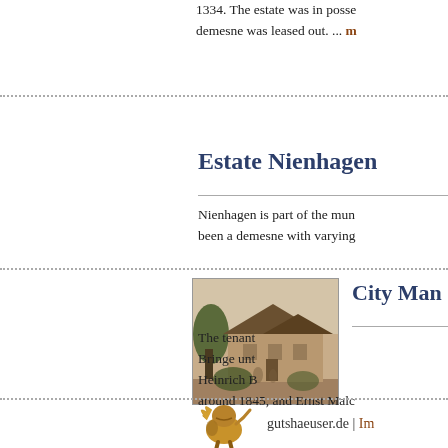1334. The estate was in possession... demesne was leased out. ... more
Estate Nienhagen
Nienhagen is part of the municipality... been a demesne with varying
[Figure (photo): Sepia photograph of a large manor house or estate building with trees in the foreground]
City Manor
The tenant... Bringe until... Heinrich B... around 1845, and Ernst Malc...
gutshaeuser.de | Imp...